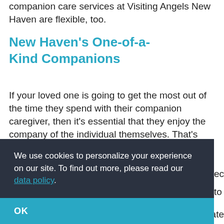companion care services at Visiting Angels New Haven are flexible, too.
New Haven's One-of-a-Kind Companions
If your loved one is going to get the most out of the time they spend with their companion caregiver, then it's essential that they enjoy the company of the individual themselves. That's
We use cookies to personalize your experience on our site. To find out more, please read our data policy.
OK
an ideal match.